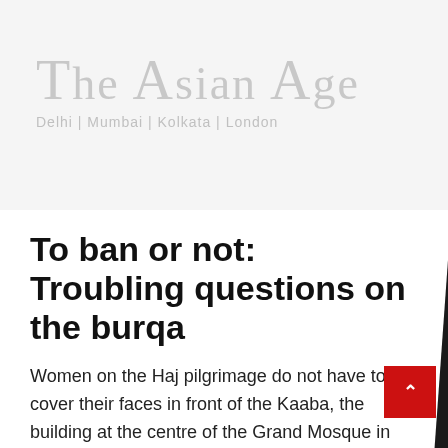THE ASIAN AGE — Delhi | Mumbai | Kolkata | London
To ban or not: Troubling questions on the burqa
Women on the Haj pilgrimage do not have to cover their faces in front of the Kaaba, the building at the centre of the Grand Mosque in Mecca.